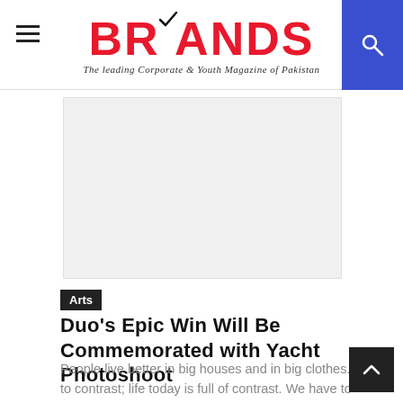BRANDS — The leading Corporate & Youth Magazine of Pakistan
[Figure (photo): Large empty/placeholder image area with light gray background]
Arts
Duo's Epic Win Will Be Commemorated with Yacht Photoshoot
People live better in big houses and in big clothes. I try to contrast; life today is full of contrast. We have to change! I...